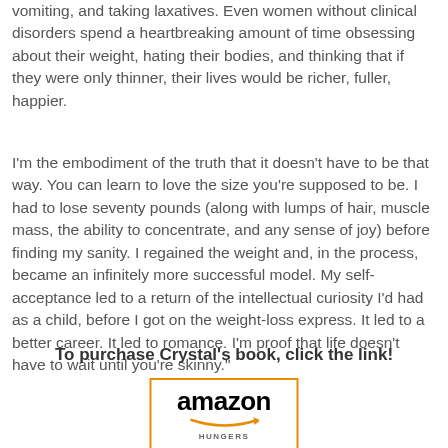vomiting, and taking laxatives. Even women without clinical disorders spend a heartbreaking amount of time obsessing about their weight, hating their bodies, and thinking that if they were only thinner, their lives would be richer, fuller, happier.
I'm the embodiment of the truth that it doesn't have to be that way. You can learn to love the size you're supposed to be. I had to lose seventy pounds (along with lumps of hair, muscle mass, the ability to concentrate, and any sense of joy) before finding my sanity. I regained the weight and, in the process, became an infinitely more successful model. My self-acceptance led to a return of the intellectual curiosity I'd had as a child, before I got on the weight-loss express. It led to a better career. It led to romance. I'm proof that life doesn't have to wait until you're skinny."
To purchase Crystal's book, click the link!
[Figure (logo): Amazon logo with orange arrow underneath and 'HUNGERS' text below in small caps]